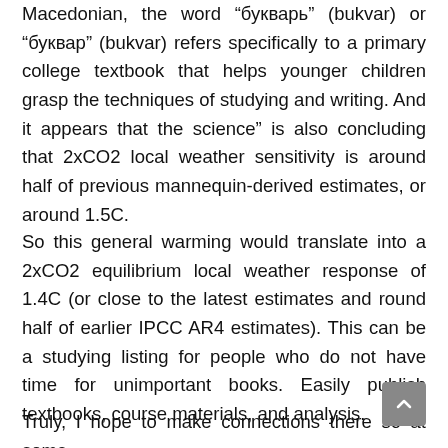Macedonian, the word “букварь” (bukvar) or “буквар” (bukvar) refers specifically to a primary college textbook that helps younger children grasp the techniques of studying and writing. And it appears that the science” is also concluding that 2xCO2 local weather sensitivity is around half of previous mannequin-derived estimates, or around 1.5C.
So this general warming would translate into a 2xCO2 equilibrium local weather response of 1.4C (or close to the latest estimates and round half of earlier IPCC AR4 estimates). This can be a studying listing for people who do not have time for unimportant books. Easily publish textbooks, course materials, and analysis.
Truly, I hope to make connections there so at some